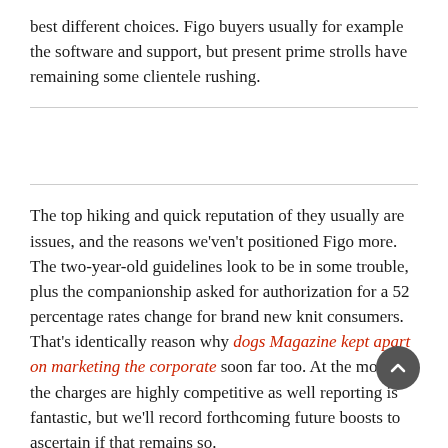best different choices. Figo buyers usually for example the software and support, but present prime strolls have remaining some clientele rushing.
The top hiking and quick reputation of they usually are issues, and the reasons we'ven't positioned Figo more. The two-year-old guidelines look to be in some trouble, plus the companionship asked for authorization for a 52 percentage rates change for brand new knit consumers. That's identically reason why dogs Magazine kept apart on marketing the corporate soon far too. At the moment, the charges are highly competitive as well reporting is fantastic, but we'll record forthcoming future boosts to ascertain if that remains so.
A socio-dece transac...